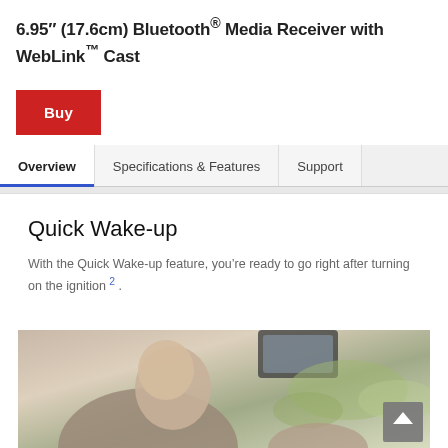6.95″ (17.6cm) Bluetooth® Media Receiver with WebLink™ Cast
Buy
Overview
Specifications & Features
Support
Quick Wake-up
With the Quick Wake-up feature, you're ready to go right after turning on the ignition 2 .
[Figure (photo): Person in car touching steering wheel, viewed from rear, with rearview mirror visible and blurred background with green plants]